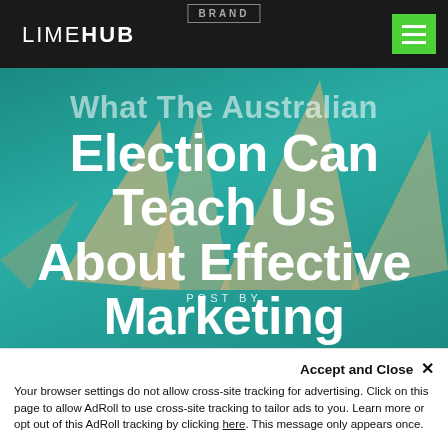BRAND
LIMEHUB
What The Australian Election Can Teach Us About Effective Marketing
POST BY
[Figure (photo): Teal/turquoise background with paper planes or wooden arrows as decorative elements, forming the hero image behind the article title.]
Accept and Close ✕ Your browser settings do not allow cross-site tracking for advertising. Click on this page to allow AdRoll to use cross-site tracking to tailor ads to you. Learn more or opt out of this AdRoll tracking by clicking here. This message only appears once.